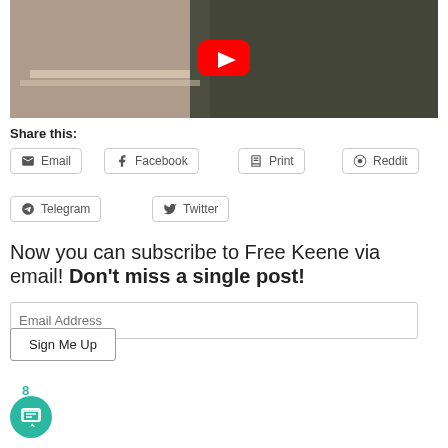[Figure (screenshot): YouTube video thumbnail showing two people sitting at a desk, with a red YouTube play button in the center]
Share this:
Email
Facebook
Print
Reddit
Telegram
Twitter
Now you can subscribe to Free Keene via email! Don't miss a single post!
Email Address
Sign Me Up
8